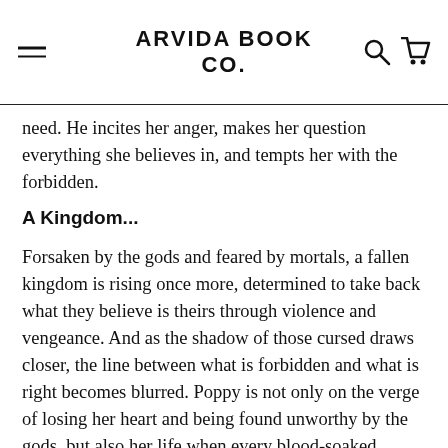ARVIDA BOOK CO.
need. He incites her anger, makes her question everything she believes in, and tempts her with the forbidden.
A Kingdom...
Forsaken by the gods and feared by mortals, a fallen kingdom is rising once more, determined to take back what they believe is theirs through violence and vengeance. And as the shadow of those cursed draws closer, the line between what is forbidden and what is right becomes blurred. Poppy is not only on the verge of losing her heart and being found unworthy by the gods, but also her life when every blood-soaked thread that holds her world together begins to unravel.